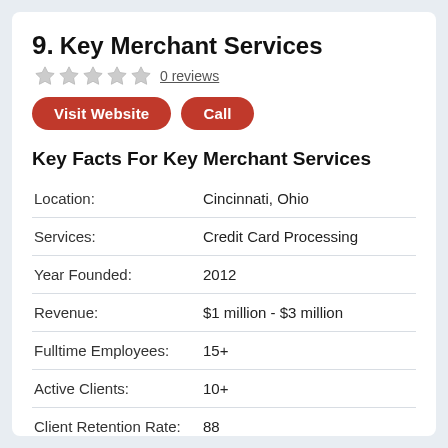9. Key Merchant Services
0 reviews
Visit Website   Call
Key Facts For Key Merchant Services
|  |  |
| --- | --- |
| Location: | Cincinnati, Ohio |
| Services: | Credit Card Processing |
| Year Founded: | 2012 |
| Revenue: | $1 million - $3 million |
| Fulltime Employees: | 15+ |
| Active Clients: | 10+ |
| Client Retention Rate: | 88 |
| Pricing: | L |
| Website: | www.key.com |